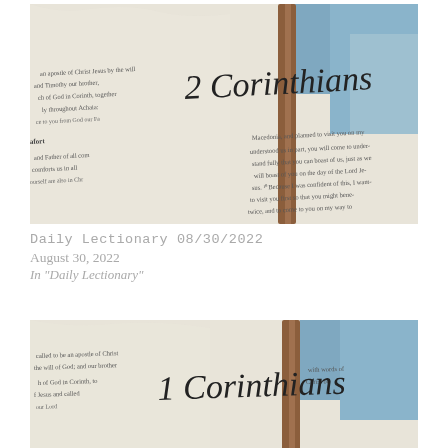[Figure (photo): Open Bible showing the heading '2 Corinthians' with text visible on the left page and part of the right page, brown spine visible, blue background]
Daily Lectionary 08/30/2022
August 30, 2022
In "Daily Lectionary"
[Figure (photo): Open Bible showing the heading '1 Corinthians' with text visible on the left page, brown spine visible, blue background]